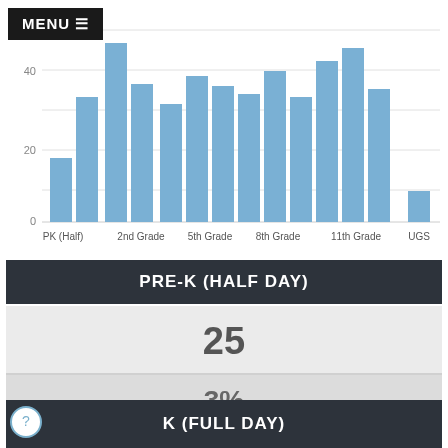[Figure (bar-chart): Enrollment by Grade]
PRE-K (HALF DAY)
25
3%
K (FULL DAY)